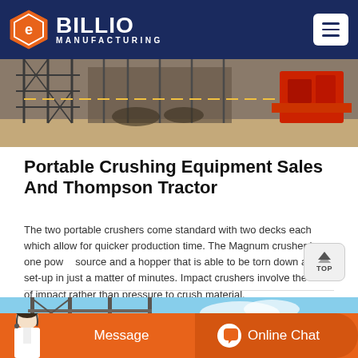[Figure (photo): Billio Manufacturing logo on dark navy blue navigation header with hamburger menu button on the right]
[Figure (photo): Outdoor industrial crushing/mining equipment machinery scene with scaffolding and red machinery]
Portable Crushing Equipment Sales And Thompson Tractor
The two portable crushers come standard with two decks each which allow for quicker production time. The Magnum crusher has one power source and a hopper that is able to be torn down and set-up in just a matter of minutes. Impact crushers involve the use of impact rather than pressure to crush material.
[Figure (photo): Outdoor industrial scene with scaffolding structure and blue sky]
[Figure (infographic): Orange bottom bar with Message button on left and Online Chat button on right, with customer service agent image on lower left]